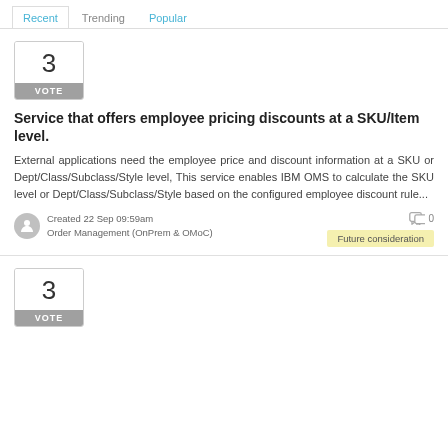Recent | Trending | Popular
[Figure (other): Vote box showing number 3 with gray VOTE label]
Service that offers employee pricing discounts at a SKU/Item level.
External applications need the employee price and discount information at a SKU or Dept/Class/Subclass/Style level, This service enables IBM OMS to calculate the SKU level or Dept/Class/Subclass/Style based on the configured employee discount rule...
Created 22 Sep 09:59am
Order Management (OnPrem & OMoC)
0
Future consideration
[Figure (other): Vote box showing number 3 with gray VOTE label (second card)]